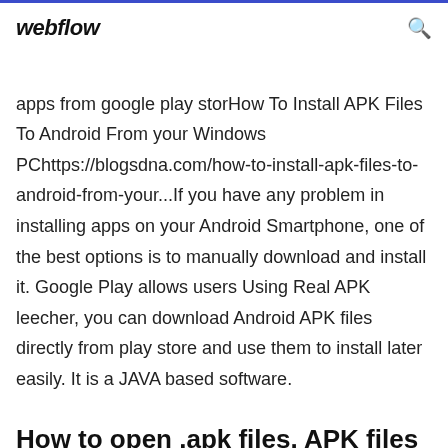webflow
apps from google play storHow To Install APK Files To Android From your Windows PChttps://blogsdna.com/how-to-install-apk-files-to-android-from-your...If you have any problem in installing apps on your Android Smartphone, one of the best options is to manually download and install it. Google Play allows users Using Real APK leecher, you can download Android APK files directly from play store and use them to install later easily. It is a JAVA based software.
How to open .apk files. APK files are applications for Android